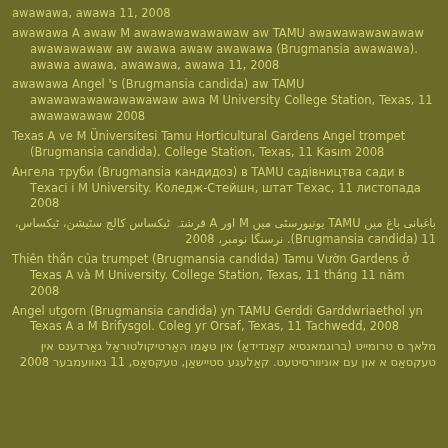awawawa, awawa 11, 2008
awawawa A awaw M awawawawawawaw aw TAMU awawawawawawaw awawawawaw aw awawa awaw awawawa (Brugmansia awawawa). awawa awawa, awawawa, awawa 11, 2008
awawawa Angel 's (Brugmansia candida) aw TAMU awawawawawawawawaw awa M University College Station, Texas, 11 awawawawaw 2008
Texas A ve M Üniversitesi Tamu Horticultural Gardens Angel trompet (Brugmansia candida). College Station, Texas, 11 Kasım 2008
Ангела труби (Brugmansia кандидоз) в TAMU садівництва сади в Техасі і M University. Коледж-Стейшн, штат Техас, 11 листопада 2008
باغبانی باغ میں TAMU یونیورسٹی میں M اور A فرشتہ ٹیکساس کالج سٹیشن، ٹیکساس، 11 (Brugmansia candida). نرسنگا نومبر، 2008
Thiên thần của trumpet (Brugmansia candida) Tamu Vườn Gardens ở Texas A và M University. College Station, Texas, 11 tháng 11 năm 2008
Angel utgorn (Brugmansia candida) yn TAMU Gerddi Garddwriaethol yn Texas A a M Brifysgol. Coleg yr Orsaf, Texas, 11 Tachwedd, 2008
מלאך ס טרומייט (ברוגמאנסיא קאַנדידאַ) אין טאָמו האַרטיקולטוראַל גאַרדענס אין טעקסאַס א און עם אוניוורסיטעט. קאַלעגע סטיישאַן, טעקסאַס, 11 נאוועמבער 2008